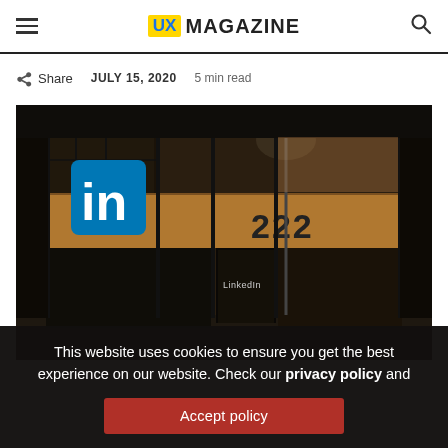UX MAGAZINE
Share  JULY 15, 2020  5 min read
[Figure (photo): Night exterior shot of LinkedIn office building at 222, with large illuminated 'in' blue LinkedIn logo sign visible through glass storefront]
This website uses cookies to ensure you get the best experience on our website. Check our privacy policy and
Accept policy